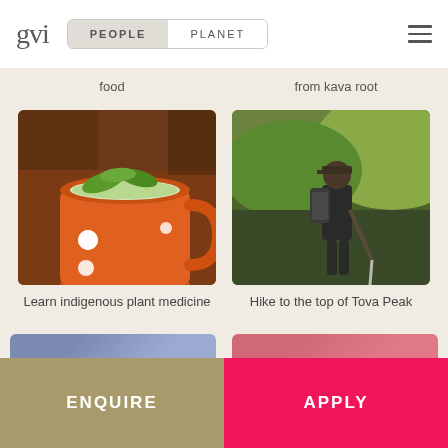gvi | PEOPLE | PLANET
food
from kava root
[Figure (photo): Orange polka-dot enamel mug with green leaves (tea/plant medicine)]
Learn indigenous plant medicine
[Figure (photo): Man with backpack hiking on a mountain trail with green hillside]
Hike to the top of Tova Peak
[Figure (photo): Partially visible blue/grey image at bottom left]
[Figure (photo): Partially visible pink/red image at bottom right]
ENQUIRE
APPLY